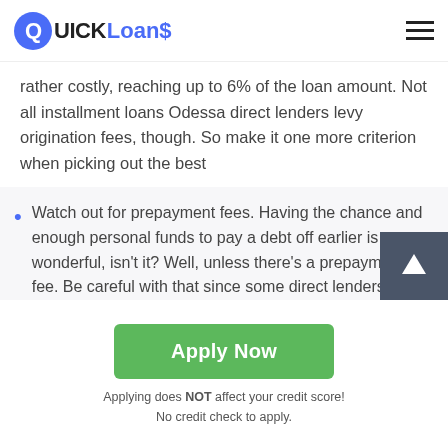QUICK Loans
rather costly, reaching up to 6% of the loan amount. Not all installment loans Odessa direct lenders levy origination fees, though. So make it one more criterion when picking out the best
Watch out for prepayment fees. Having the chance and enough personal funds to pay a debt off earlier is wonderful, isn't it? Well, unless there's a prepayment fee. Be careful with that since some direct lenders charge additionally for the opportunity to repay a loan before due time. Any prepayment fees should be indicated in the agreement.
Apply Now
Applying does NOT affect your credit score!
No credit check to apply.